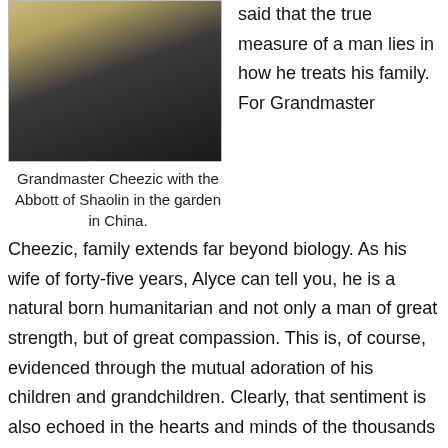[Figure (photo): Photograph of Grandmaster Cheezic with the Abbott of Shaolin in a garden in China. Two people visible, one in a yellow robe.]
Grandmaster Cheezic with the Abbott of Shaolin in the garden in China.
said that the true measure of a man lies in how he treats his family. For Grandmaster Cheezic, family extends far beyond biology. As his wife of forty-five years, Alyce can tell you, he is a natural born humanitarian and not only a man of great strength, but of great compassion. This is, of course, evidenced through the mutual adoration of his children and grandchildren. Clearly, that sentiment is also echoed in the hearts and minds of the thousands of martial artists' lives he has touched across the globe. It takes great skill and commitment to lead others, and Cheezic has never stopped his efforts to build...